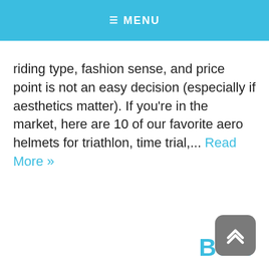≡ MENU
riding type, fashion sense, and price point is not an easy decision (especially if aesthetics matter). If you're in the market, here are 10 of our favorite aero helmets for triathlon, time trial,... Read More »
Best